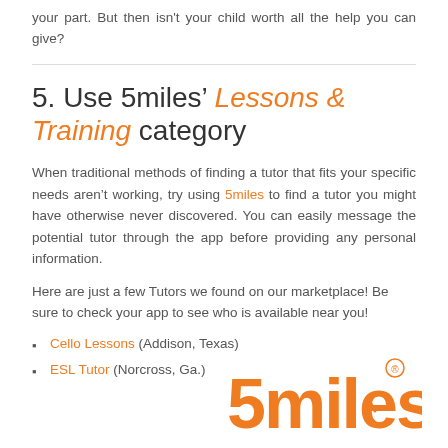your part. But then isn't your child worth all the help you can give?
5. Use 5miles' Lessons & Training category
When traditional methods of finding a tutor that fits your specific needs aren't working, try using 5miles to find a tutor you might have otherwise never discovered. You can easily message the potential tutor through the app before providing any personal information.
Here are just a few Tutors we found on our marketplace! Be sure to check your app to see who is available near you!
Cello Lessons (Addison, Texas)
ESL Tutor (Norcross, Ga.)
[Figure (logo): 5miles logo in orange with registered trademark symbol]